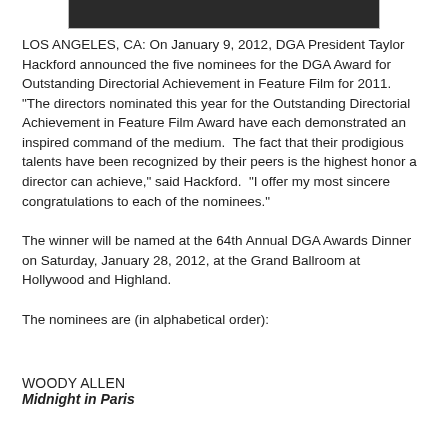[Figure (photo): Partial dark/black image at top of page]
LOS ANGELES, CA: On January 9, 2012, DGA President Taylor Hackford announced the five nominees for the DGA Award for Outstanding Directorial Achievement in Feature Film for 2011. "The directors nominated this year for the Outstanding Directorial Achievement in Feature Film Award have each demonstrated an inspired command of the medium.  The fact that their prodigious talents have been recognized by their peers is the highest honor a director can achieve," said Hackford.  "I offer my most sincere congratulations to each of the nominees."
The winner will be named at the 64th Annual DGA Awards Dinner on Saturday, January 28, 2012, at the Grand Ballroom at Hollywood and Highland.
The nominees are (in alphabetical order):
WOODY ALLEN
Midnight in Paris